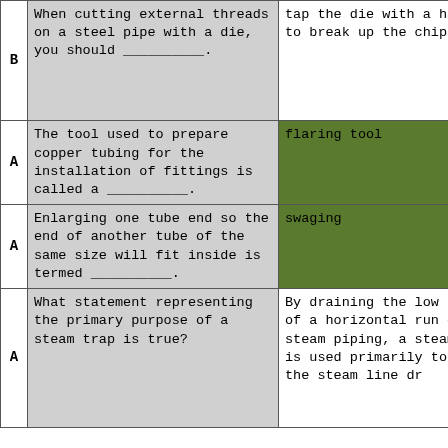|  | Question | Answer 1 | Answer 2 |
| --- | --- | --- | --- |
| B | When cutting external threads on a steel pipe with a die, you should __________. | tap the die with a hammer to break up the chips | cont... until the r... thro... and i... the d... |
| A | The tool used to prepare copper tubing for the installation of fittings is called a __________. | flaring tool | sprea... |
| A | Enlarging one tube end so the end of another tube of the same size will fit inside is termed __________. | swaging | flar... |
| A | What statement representing the primary purpose of a steam trap is true? | By draining the low point of a horizontal run of steam piping, a steam trap is used primarily to keep the steam line dr... | By dr... high hori... steam steam prima... the... |